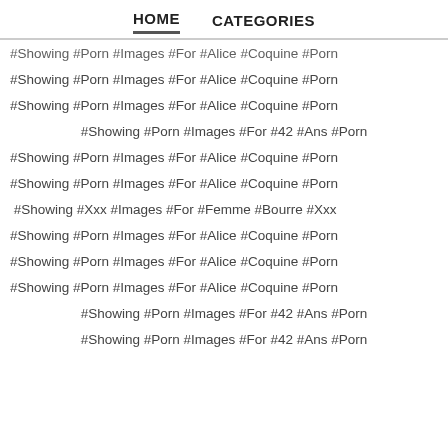HOME   CATEGORIES
#Showing #Porn #Images #For #Alice #Coquine #Porn
#Showing #Porn #Images #For #Alice #Coquine #Porn
#Showing #Porn #Images #For #Alice #Coquine #Porn
#Showing #Porn #Images #For #42 #Ans #Porn
#Showing #Porn #Images #For #Alice #Coquine #Porn
#Showing #Porn #Images #For #Alice #Coquine #Porn
#Showing #Xxx #Images #For #Femme #Bourre #Xxx
#Showing #Porn #Images #For #Alice #Coquine #Porn
#Showing #Porn #Images #For #Alice #Coquine #Porn
#Showing #Porn #Images #For #Alice #Coquine #Porn
#Showing #Porn #Images #For #42 #Ans #Porn
#Showing #Porn #Images #For #42 #Ans #Porn